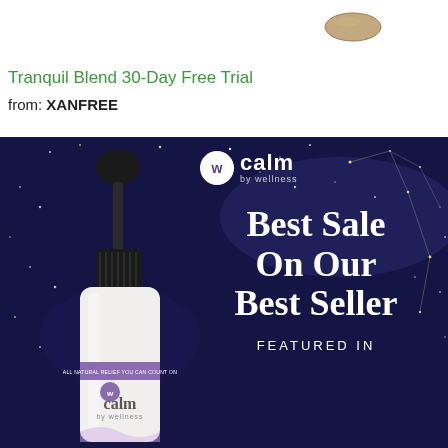[Figure (photo): A single supplement capsule/pill photographed from above against white background]
Tranquil Blend 30-Day Free Trial
from: XANFREE
[Figure (photo): Advertisement banner with dark navy blue background showing stars/constellations. On the left is a white dropper bottle labeled 'calm by wellness' with a purple label strip reading 'ALL NATURAL RELIEF YOU CAN COUNT ON'. On the right top is the calm by wellness logo (white circle with W icon). Main text reads 'Best Sale On Our Best Seller' in large white serif font. Below that 'FEATURED IN' in white spaced capitals.]